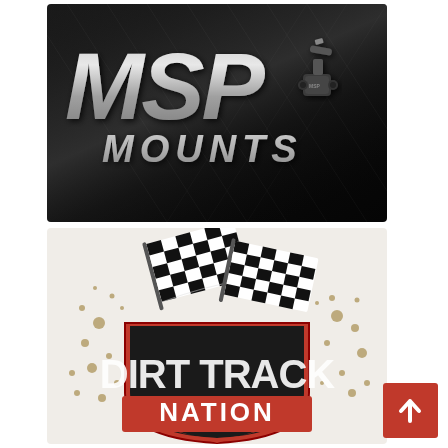[Figure (logo): MSP Mounts logo on black carbon fiber background — bold italic 'MSP' text in silver/grey with 'MOUNTS' below, and a camera mount product image on the right]
[Figure (logo): Dirt Track Nation logo — checkered racing flags above a red/black shield badge with 'DIRT TRACK' in large distressed white text and 'NATION' in white on a red banner, with dirt splatter effects on a light background]
[Figure (other): Red back-to-top arrow button in bottom right corner]